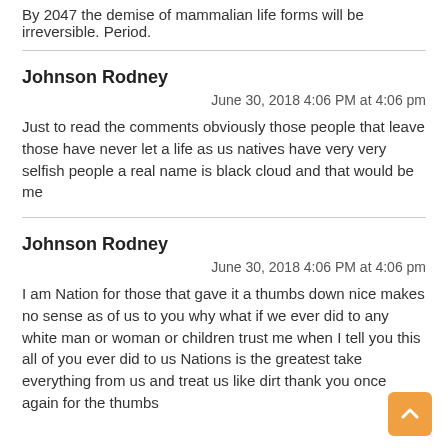By 2047 the demise of mammalian life forms will be irreversible. Period.
Johnson Rodney
June 30, 2018 4:06 PM at 4:06 pm
Just to read the comments obviously those people that leave those have never let a life as us natives have very very selfish people a real name is black cloud and that would be me
Johnson Rodney
June 30, 2018 4:06 PM at 4:06 pm
I am Nation for those that gave it a thumbs down nice makes no sense as of us to you why what if we ever did to any white man or woman or children trust me when I tell you this all of you ever did to us Nations is the greatest take everything from us and treat us like dirt thank you once again for the thumbs